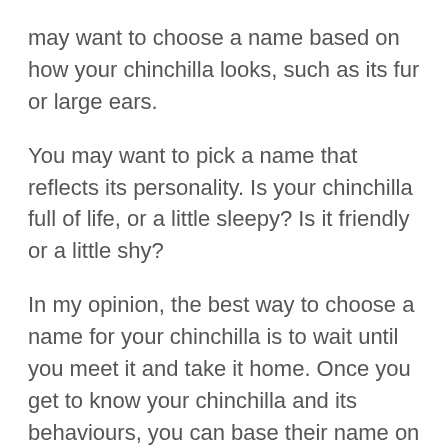may want to choose a name based on how your chinchilla looks, such as its fur or large ears.
You may want to pick a name that reflects its personality. Is your chinchilla full of life, or a little sleepy? Is it friendly or a little shy?
In my opinion, the best way to choose a name for your chinchilla is to wait until you meet it and take it home. Once you get to know your chinchilla and its behaviours, you can base their name on this.
Your pet may even have a unique mark on its body. For example, the lighter part of its fur may look like a particular shape or object.